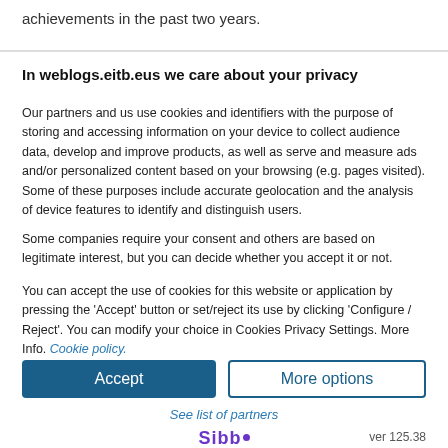achievements in the past two years.
In weblogs.eitb.eus we care about your privacy
Our partners and us use cookies and identifiers with the purpose of storing and accessing information on your device to collect audience data, develop and improve products, as well as serve and measure ads and/or personalized content based on your browsing (e.g. pages visited). Some of these purposes include accurate geolocation and the analysis of device features to identify and distinguish users.
Some companies require your consent and others are based on legitimate interest, but you can decide whether you accept it or not.
You can accept the use of cookies for this website or application by pressing the 'Accept' button or set/reject its use by clicking 'Configure / Reject'. You can modify your choice in Cookies Privacy Settings. More Info. Cookie policy.
Accept
More options
See list of partners
Sibb° ver 125.38